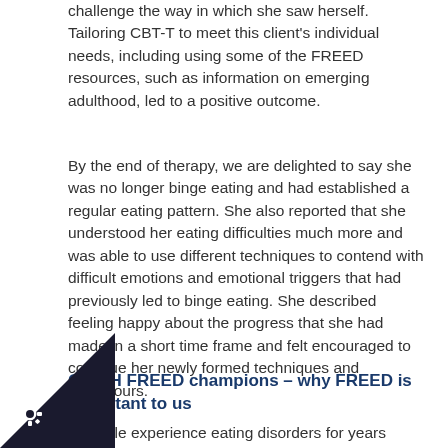challenge the way in which she saw herself. Tailoring CBT-T to meet this client's individual needs, including using some of the FREED resources, such as information on emerging adulthood, led to a positive outcome.
By the end of therapy, we are delighted to say she was no longer binge eating and had established a regular eating pattern. She also reported that she understood her eating difficulties much more and was able to use different techniques to contend with difficult emotions and emotional triggers that had previously led to binge eating. She described feeling happy about the progress that she had made in a short time frame and felt encouraged to continue her newly formed techniques and behaviours.
GMMH FREED champions – why FREED is important to us
y people experience eating disorders for years